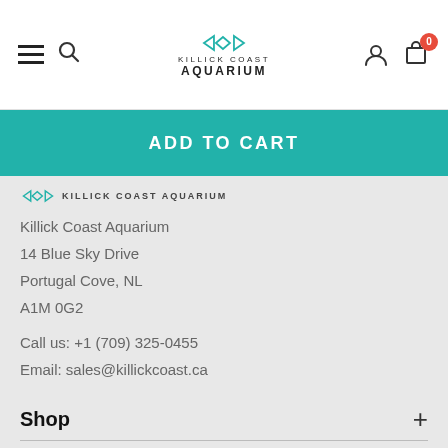[Figure (logo): Killick Coast Aquarium logo with fish icon and text in header]
ADD TO CART
[Figure (logo): Killick Coast Aquarium small logo in footer area]
Killick Coast Aquarium
14 Blue Sky Drive
Portugal Cove, NL
A1M 0G2
Call us: +1 (709) 325-0455
Email: sales@killickcoast.ca
Shop
Customer Care